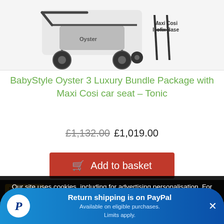[Figure (photo): Product photo of BabyStyle Oyster 3 pram/stroller with Maxi Cosi Isofix Base label]
BabyStyle Oyster 3 Luxury Bundle Package with Maxi Cosi car seat - Tonic
£1,132.00 £1,019.00
Add to basket
Our site uses cookies, including for advertising personalisation. For more information, see our cookie policy.
Accept cookies and close
Return shipping is on PayPal
Available on eligible purchases.
Limits apply.